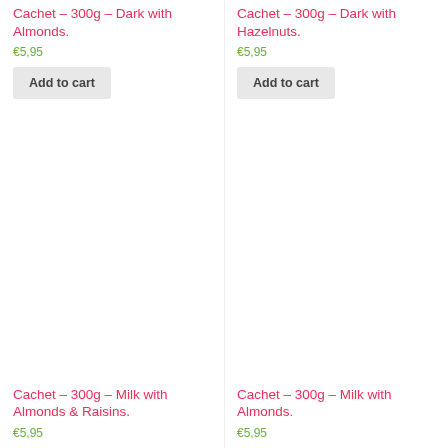Cachet – 300g – Dark with Almonds.
€5,95
Add to cart
Cachet – 300g – Dark with Hazelnuts.
€5,95
Add to cart
[Figure (photo): Product image area for Cachet 300g Milk with Almonds & Raisins chocolate bar]
Cachet – 300g – Milk with Almonds & Raisins.
€5,95
[Figure (photo): Product image area for Cachet 300g Milk with Almonds chocolate bar]
Cachet – 300g – Milk with Almonds.
€5,95